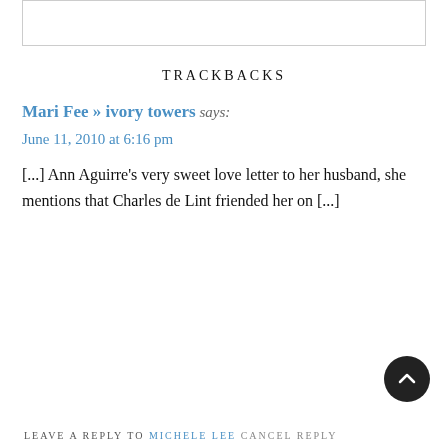[Figure (other): Top portion of a comment/text input box (border visible, content area empty)]
TRACKBACKS
Mari Fee » ivory towers says:
June 11, 2010 at 6:16 pm
[...] Ann Aguirre's very sweet love letter to her husband, she mentions that Charles de Lint friended her on [...]
[Figure (other): Back to top button — dark circular button with upward chevron arrow]
LEAVE A REPLY TO MICHELE LEE CANCEL REPLY